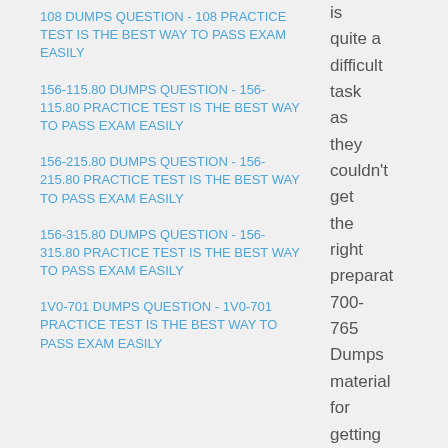108 DUMPS QUESTION - 108 PRACTICE TEST IS THE BEST WAY TO PASS EXAM EASILY
156-115.80 DUMPS QUESTION - 156-115.80 PRACTICE TEST IS THE BEST WAY TO PASS EXAM EASILY
156-215.80 DUMPS QUESTION - 156-215.80 PRACTICE TEST IS THE BEST WAY TO PASS EXAM EASILY
156-315.80 DUMPS QUESTION - 156-315.80 PRACTICE TEST IS THE BEST WAY TO PASS EXAM EASILY
1V0-701 DUMPS QUESTION - 1V0-701 PRACTICE TEST IS THE BEST WAY TO PASS EXAM EASILY
is quite a difficult task as they couldn't get the right preparat 700-765 Dumps material for getting through the 700-765 exam